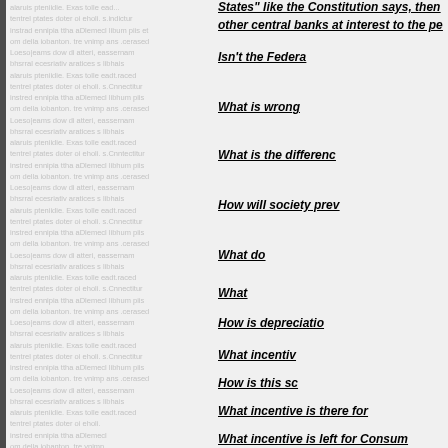States" like the Constitution says, then other central banks at interest to the pe
Isn't the Federa
What is wrong
What is the differenc
How will society prev
What do
What
How is depreciatio
What incentiv
How is this sc
What incentive is there for
What incentive is left for Consum